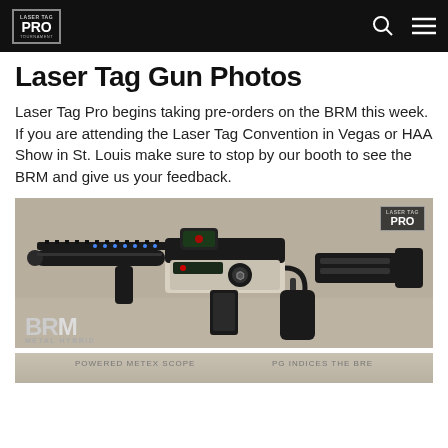Laser Tag Pro navigation bar
Laser Tag Gun Photos
Laser Tag Pro begins taking pre-orders on the BRM this week. If you are attending the Laser Tag Convention in Vegas or HAA Show in St. Louis make sure to stop by our booth to see the BRM and give us your feedback.
[Figure (photo): BRM Metal Hybrid laser tag gun, black and silver, side profile view on a concrete surface. Laser Tag Pro logo in top right corner.]
[Figure (photo): Partial view of a second laser tag gun or product, partially cut off at bottom of page.]